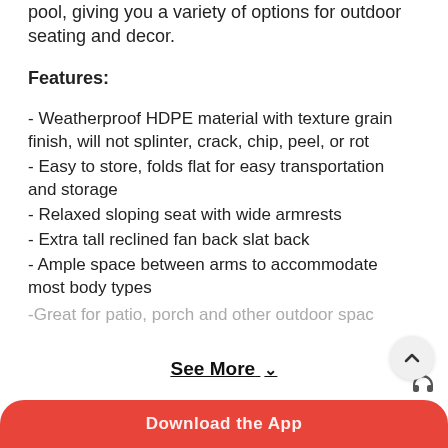pool, giving you a variety of options for outdoor seating and decor.
Features:
- Weatherproof HDPE material with texture grain finish, will not splinter, crack, chip, peel, or rot
- Easy to store, folds flat for easy transportation and storage
- Relaxed sloping seat with wide armrests
- Extra tall reclined fan back slat back
- Ample space between arms to accommodate most body types
-Great for patio, porch and other outdoor spaces
See More ∨
Download the App